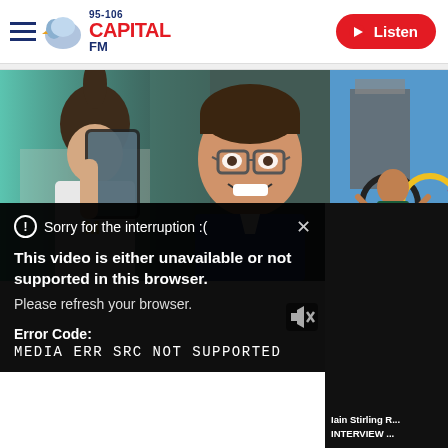[Figure (screenshot): Capital FM website header with hamburger menu, Capital FM logo (95-106) and red Listen button]
[Figure (photo): Collage of three people: woman taking selfie in mirror on left, man with glasses smiling in center, athlete celebrating at Olympic rings on right]
Sorry for the interruption :(
This video is either unavailable or not supported in this browser. Please refresh your browser.
Error Code: MEDIA ERR SRC NOT SUPPORTED
Iain Stirling R... INTERVIEW ...